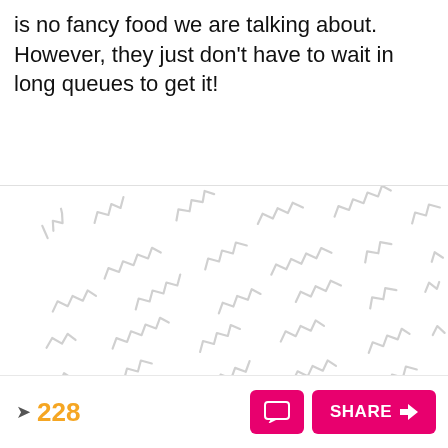is no fancy food we are talking about. However, they just don't have to wait in long queues to get it!
[Figure (illustration): Repeating pattern of light gray squiggly/zigzag lines arranged in a scattered pattern across a white background, resembling noodles or worms.]
228
SHARE